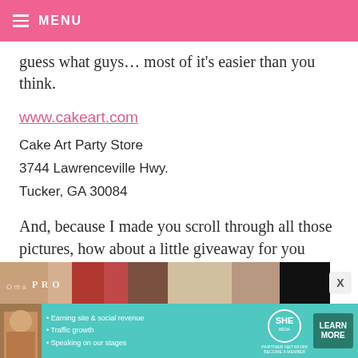MENU
guess what guys… most of it’s easier than you think.
www.cakeart.com
Cake Art Party Store
3744 Lawrenceville Hwy.
Tucker, GA 30084
And, because I made you scroll through all those pictures, how about a little giveaway for you sprinkle lovers!
[Figure (photo): Partial photo strip of store/products visible at bottom of page]
[Figure (infographic): SHE Partner Network advertisement banner with photo of woman, bullet points about earning site & social revenue, traffic growth, speaking on stages, SHE Media logo, and Learn More button]